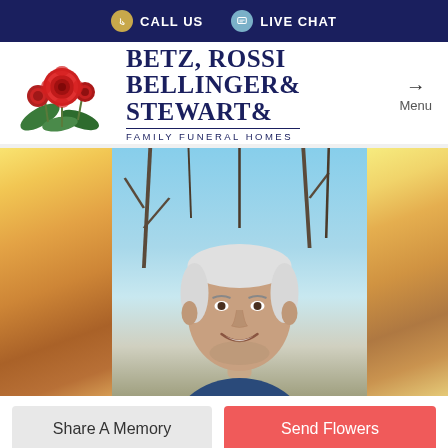CALL US   LIVE CHAT
[Figure (logo): Betz, Rossi, Bellinger & Stewart Family Funeral Homes logo with red roses illustration]
[Figure (photo): Portrait photo of an elderly man smiling, outdoors with bare trees in background, flanked by blurred candle images on both sides]
Share A Memory
Send Flowers